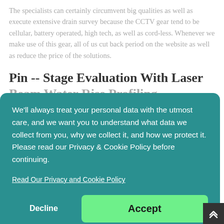The specialists can certainly circumvent big qualities as well as execute extensive drain survey because the CCTV gear tend to be cellular, battery operated, high tech, as well as cord-less. Whenever we make use of this gear, all of us cut back period on the website as well as reduce the price of the solutions.
Pin -- Stage Evaluation With Laser
Beam Water Rise Profiling
...ess of ...kind of ...he ...here is ...a size
[Figure (screenshot): Cookie consent popup overlay with teal background. Text reads: 'We'll always treat your personal data with the utmost care, and we want you to understand what data we collect from you, why we collect it, and how we protect it. Please read our Privacy & Cookie Policy before continuing.' A link reads 'Read Our Privacy and Cookie Policy'. Two buttons: 'Decline' (transparent) and 'Accept' (green).]